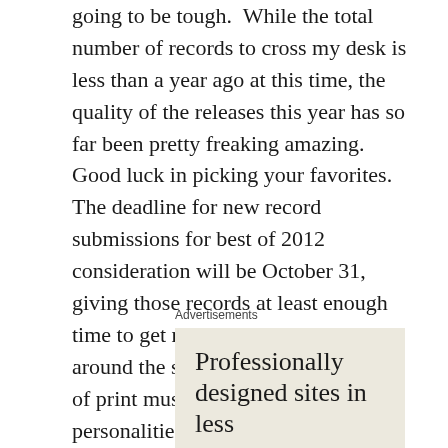going to be tough.  While the total number of records to cross my desk is less than a year ago at this time, the quality of the releases this year has so far been pretty freaking amazing.  Good luck in picking your favorites.   The deadline for new record submissions for best of 2012 consideration will be October 31, giving those records at least enough time to get reviewed and/or played around the state for our annual panel of print music critics, radio personalities, and select industry purveyors.
Advertisements
[Figure (other): Advertisement box with text: Professionally designed sites in less than a week]